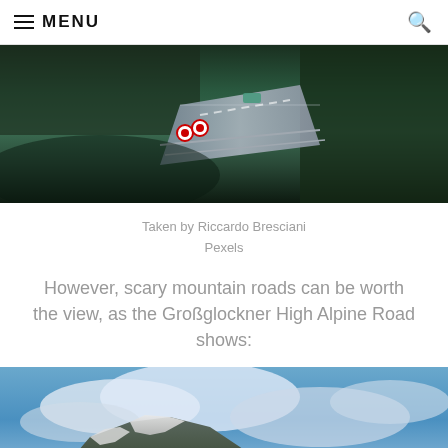≡ MENU
[Figure (photo): Aerial view of a mountain road with traffic signs and a vehicle crossing a bridge, surrounded by dark pine trees and rocky terrain.]
Taken by Riccardo Bresciani
Pexels
However, scary mountain roads can be worth the view, as the Großglockner High Alpine Road shows:
[Figure (photo): Panoramic view of the Großglockner High Alpine Road showing snow-capped mountain peaks, rocky slopes with patches of snow, and a dramatic cloudy sky.]